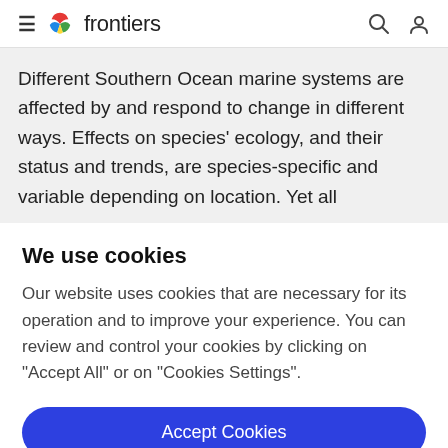frontiers
Different Southern Ocean marine systems are affected by and respond to change in different ways. Effects on species' ecology, and their status and trends, are species-specific and variable depending on location. Yet all
We use cookies
Our website uses cookies that are necessary for its operation and to improve your experience. You can review and control your cookies by clicking on "Accept All" or on "Cookies Settings".
Accept Cookies
Cookies Settings